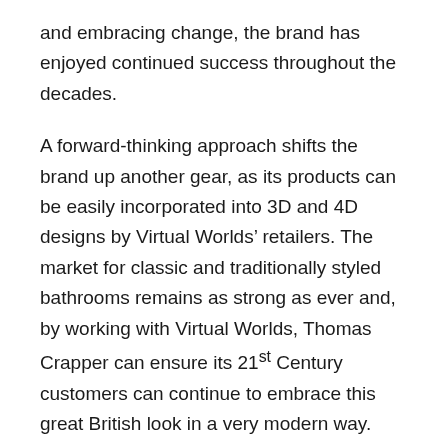and embracing change, the brand has enjoyed continued success throughout the decades.
A forward-thinking approach shifts the brand up another gear, as its products can be easily incorporated into 3D and 4D designs by Virtual Worlds' retailers. The market for classic and traditionally styled bathrooms remains as strong as ever and, by working with Virtual Worlds, Thomas Crapper can ensure its 21st Century customers can continue to embrace this great British look in a very modern way.
“Virtual Worlds software puts a whole new perspective on bathroom design,” commented Paul Dwyer, Managing Director at Thomas Crapper. “With our products available on the Virtual Worlds catalogue, our customers can easily integrate Thomas Crapper products into their new